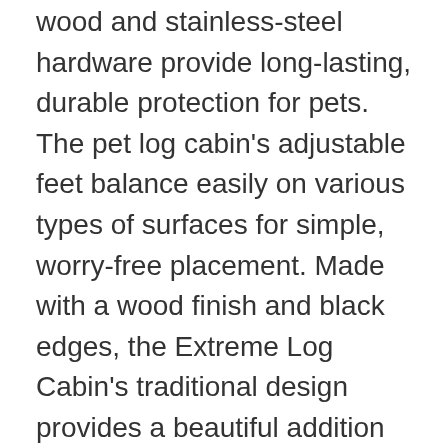wood and stainless-steel hardware provide long-lasting, durable protection for pets. The pet log cabin's adjustable feet balance easily on various types of surfaces for simple, worry-free placement. Made with a wood finish and black edges, the Extreme Log Cabin's traditional design provides a beautiful addition to any backyard. The cabin assembles easily in three quick steps. The Extreme Log Cabin is available in small, medium, large, and giant to accommodate all sizes of pets.
SMALL DOG HOUSE: Cabin dog house's sealed protective coating, raised floor, & slanted asphalt roof provide protection from the elements and keep the cabin comfortable & dry. Assembles in 3 steps. Features an offset door so pets can get away from